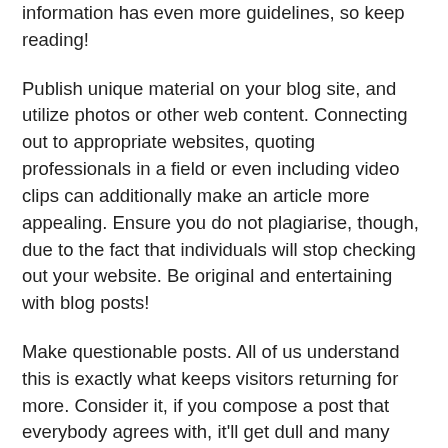information has even more guidelines, so keep reading!
Publish unique material on your blog site, and utilize photos or other web content. Connecting out to appropriate websites, quoting professionals in a field or even including video clips can additionally make an article more appealing. Ensure you do not plagiarise, though, due to the fact that individuals will stop checking out your website. Be original and entertaining with blog posts!
Make questionable posts. All of us understand this is exactly what keeps visitors returning for more. Consider it, if you compose a post that everybody agrees with, it'll get dull and many individuals will not wish to read it. If you compose questionable aspects it'll keep readers returning for more.
Compose posts ahead of time that you may utilize when you are very busy or simply cannot generate a brand-new subject. All of us have those moments that we get on a roll and also